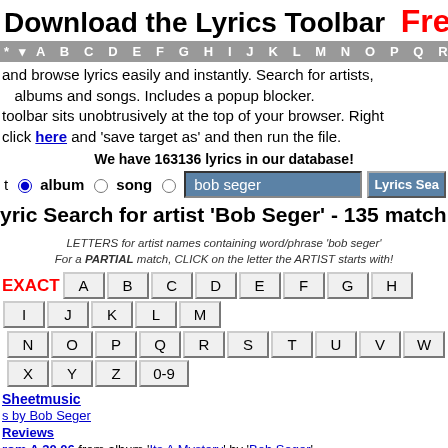Download the Lyrics Toolbar  Free
* A B C D E F G H I J K L M N O P Q R S T U V W X
and browse lyrics easily and instantly. Search for artists, albums and songs. Includes a popup blocker. toolbar sits unobtrusively at the top of your browser. Right click here and 'save target as' and then run the file.
We have 163136 lyrics in our database!
artist  album  song   bob seger   Lyrics Sea...
Lyric Search for artist 'Bob Seger' - 135 match
LETTERS for artist names containing word/phrase 'bob seger'
For a PARTIAL match, CLICK on the letter the ARTIST starts with!
EXACT A B C D E F G H I J K L M N O P Q R S T U V W X Y Z 0-9
sheetmusic
by Bob Seger
Reviews
rom A 30 06 from album 'Its A Mystery' by 'Bob Seger'
he Wind from album 'Against The Wind' by 'Bob Seger'
he Wind from album 'Greatest Hits' by 'Bob Seger'
he Wind from album 'Nine Tonight' by 'Bob Seger'
No Money from album 'Stranger In Town' by 'Bob Seger'
My Heart from album 'The Fire Inside' by 'Bob Seger'
Storm from album 'Like A Rock' by 'Bob Seger'